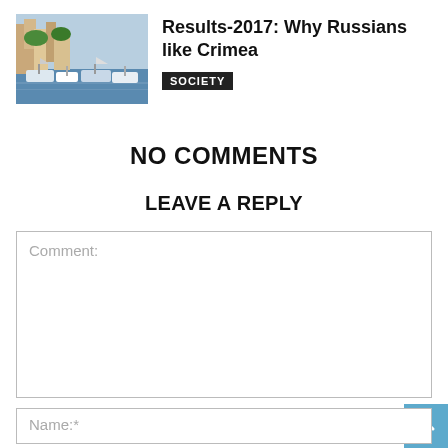[Figure (photo): Photo of a marina with boats and colorful buildings on a hillside]
Results-2017: Why Russians like Crimea
SOCIETY
NO COMMENTS
LEAVE A REPLY
Comment:
Name:*